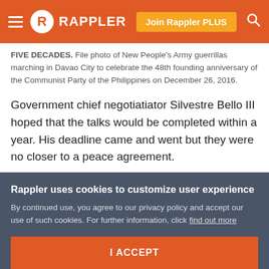RAPPLER — Join Rappler PLUS
FIVE DECADES. File photo of New People's Army guerrillas marching in Davao City to celebrate the 48th founding anniversary of the Communist Party of the Philippines on December 26, 2016.
Government chief negotiatiator Silvestre Bello III hoped that the talks would be completed within a year. His deadline came and went but they were no closer to a peace agreement.
The peace talks have reached a low point. Duterte did not only formally cancel the talks, he officially declared the
Rappler uses cookies to customize user experience
By continued use, you agree to our privacy policy and accept our use of such cookies. For further information, click find out more
I ACCEPT